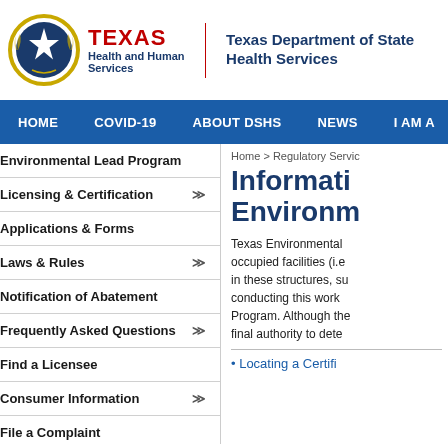[Figure (logo): Texas Health and Human Services seal and logo with Texas Department of State Health Services text]
HOME  COVID-19  ABOUT DSHS  NEWS  I AM A
Environmental Lead Program
Licensing & Certification
Applications & Forms
Laws & Rules
Notification of Abatement
Frequently Asked Questions
Find a Licensee
Consumer Information
File a Complaint
Enforcement
Open Records
Home > Regulatory Servic
Informati Environm
Texas Environmental occupied facilities (i.e in these structures, su conducting this work Program. Although the final authority to dete
Locating a Certifi